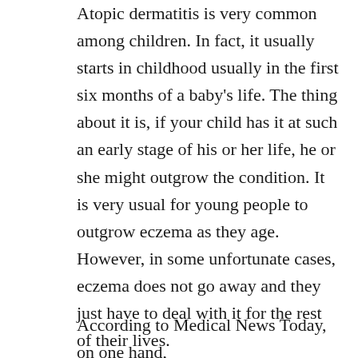Atopic dermatitis is very common among children. In fact, it usually starts in childhood usually in the first six months of a baby's life. The thing about it is, if your child has it at such an early stage of his or her life, he or she might outgrow the condition. It is very usual for young people to outgrow eczema as they age. However, in some unfortunate cases, eczema does not go away and they just have to deal with it for the rest of their lives.
According to Medical News Today, on one hand, atopic dermatitis differ...